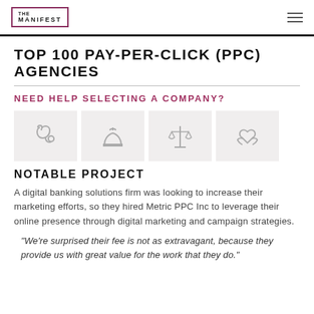THE MANIFEST
TOP 100 PAY-PER-CLICK (PPC) AGENCIES
NEED HELP SELECTING A COMPANY?
[Figure (illustration): Four category icons in grey boxes: stethoscope, service bell, scales of justice, and heart in hands]
NOTABLE PROJECT
A digital banking solutions firm was looking to increase their marketing efforts, so they hired Metric PPC Inc to leverage their online presence through digital marketing and campaign strategies.
"We're surprised their fee is not as extravagant, because they provide us with great value for the work that they do."